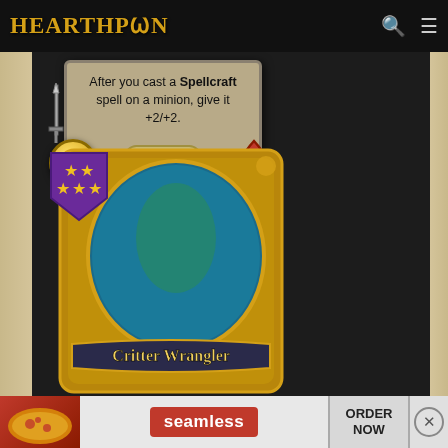[Figure (screenshot): Hearthpwn website navigation bar with golden logo text 'HEARTHPWN', search icon, and hamburger menu icon on black background]
[Figure (illustration): Hearthstone card tooltip showing: 'After you cast a Spellcraft spell on a minion, give it +2/+2.' with Naga type, cost 5 (gold circle), health 7 (red drop), and a sword icon on the left side]
[Figure (illustration): Golden Hearthstone card for 'Critter Wrangler' showing a Battlegrounds minion with 5-star tier badge (purple shield with gold stars). Card has gold ornate border with colorful creature art.]
[Figure (advertisement): Seamless food delivery advertisement banner with pizza image on left, red Seamless logo in center, ORDER NOW button, and X close button]